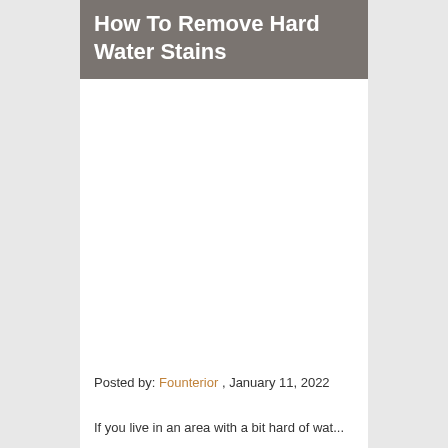How To Remove Hard Water Stains
[Figure (photo): White/blank image area below the title block]
Posted by: Founterior , January 11, 2022
If you live in an area with a bit hard of water...